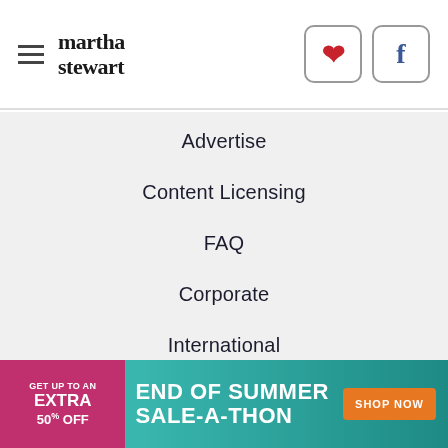martha stewart
Advertise
Content Licensing
FAQ
Corporate
International
Accolades
Connect
[Figure (infographic): Advertisement banner: GET UP TO AN EXTRA 50% OFF — END OF SUMMER SALE-A-THON — SHOP NOW]